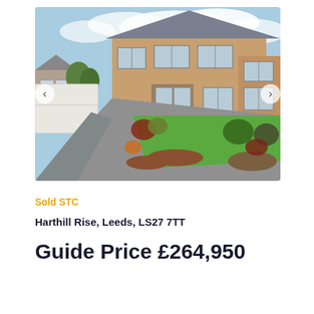[Figure (photo): Exterior photo of a semi-detached brick house with gravel driveway, front garden with green lawn and flower beds, garage visible to the left, blue sky with clouds in background. Navigation arrows on left and right sides of the image.]
Sold STC
Harthill Rise, Leeds, LS27 7TT
Guide Price £264,950